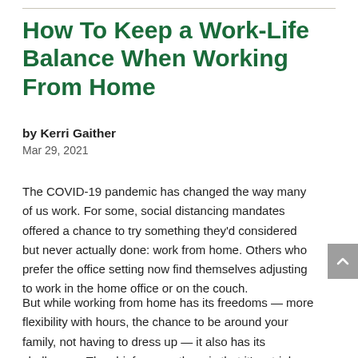How To Keep a Work-Life Balance When Working From Home
by Kerri Gaither
Mar 29, 2021
The COVID-19 pandemic has changed the way many of us work. For some, social distancing mandates offered a chance to try something they'd considered but never actually done: work from home. Others who prefer the office setting now find themselves adjusting to work in the home office or on the couch.
But while working from home has its freedoms — more flexibility with hours, the chance to be around your family, not having to dress up — it also has its challenges. The chief among them is that it's a trial